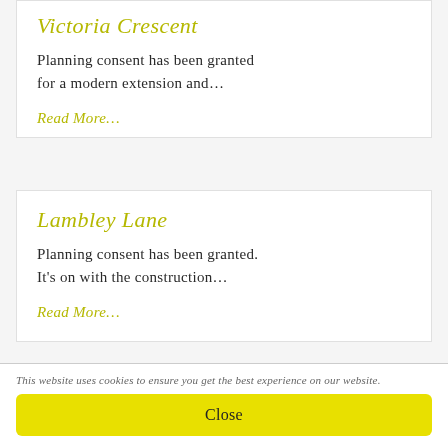Victoria Crescent
Planning consent has been granted for a modern extension and…
Read More…
Lambley Lane
Planning consent has been granted. It's on with the construction…
Read More…
This website uses cookies to ensure you get the best experience on our website.
Close